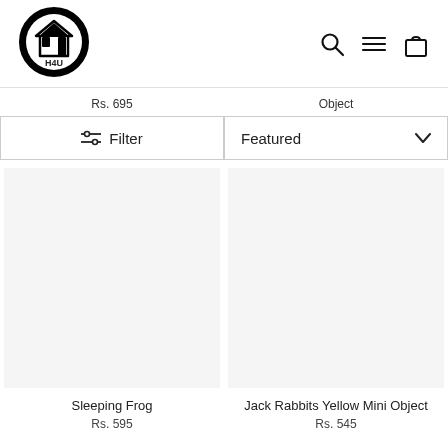[Figure (logo): H4U logo: black circle with a house icon and H4U text inside]
[Figure (infographic): Header navigation icons: search (magnifying glass), menu (hamburger), and shopping bag]
Rs. 695
Object
Filter
Featured
Sleeping Frog
Rs. 595
Jack Rabbits Yellow Mini Object
Rs. 545